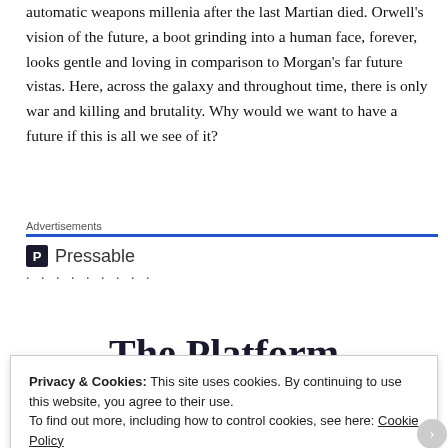automatic weapons millenia after the last Martian died. Orwell's vision of the future, a boot grinding into a human face, forever, looks gentle and loving in comparison to Morgan's far future vistas. Here, across the galaxy and throughout time, there is only war and killing and brutality. Why would we want to have a future if this is all we see of it?
Advertisements
[Figure (logo): Pressable logo with blue square icon containing letter P and text 'Pressable', followed by a row of dots]
The Platform
Privacy & Cookies: This site uses cookies. By continuing to use this website, you agree to their use.
To find out more, including how to control cookies, see here: Cookie Policy